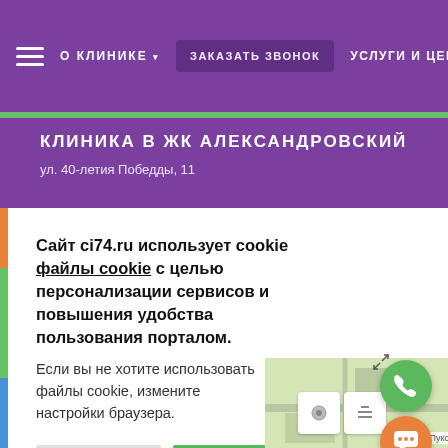О КЛИНИКЕ ▾   ЗАКАЗАТЬ ЗВОНОК   УСЛУГИ И ЦЕНЫ
КЛИНИКА В ЖК АЛЕКСАНДРОВСКИЙ
ул. 40-летия Победы, 11
Сайт ci74.ru использует cookie файлы cookie с целью персонализации сервисов и повышения удобства пользования порталом. Если вы не хотите использовать файлы cookie, измените настройки браузера.
[Figure (screenshot): Cookie consent dialog with Настройки (Settings) and Закрыть (Close) buttons, a purple scroll-up circle button, map area with controls, green phone button, and orange chat button]